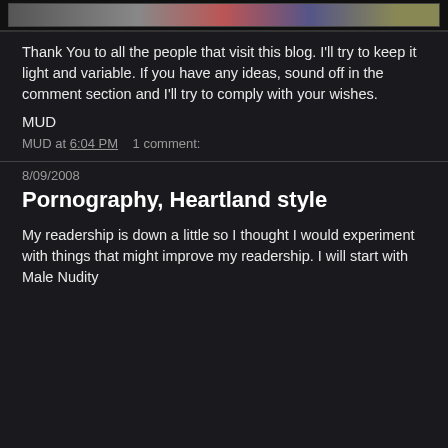[Figure (photo): Partial image strip visible at top of page, colorful image cropped]
Thank You to all the people that visit this blog. I'll try to keep it light and variable. If you have any ideas, sound off in the comment section and I'll try to comply with your wishes.
MUD
MUD at 6:04 PM    1 comment:
8/09/2008
Pornography, Heartland style
My readership is down a little so I thought I would experiment with things that might improve my readership. I will start with Male Nudity